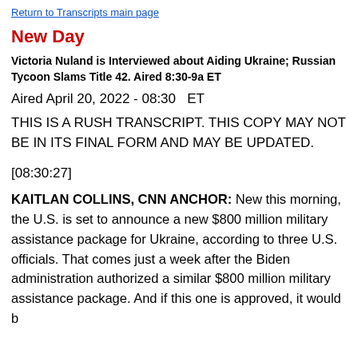Return to Transcripts main page
New Day
Victoria Nuland is Interviewed about Aiding Ukraine; Russian Tycoon Slams Title 42. Aired 8:30-9a ET
Aired April 20, 2022 - 08:30   ET
THIS IS A RUSH TRANSCRIPT. THIS COPY MAY NOT BE IN ITS FINAL FORM AND MAY BE UPDATED.
[08:30:27]
KAITLAN COLLINS, CNN ANCHOR: New this morning, the U.S. is set to announce a new $800 million military assistance package for Ukraine, according to three U.S. officials. That comes just a week after the Biden administration authorized a similar $800 million military assistance package. And if this one is approved, it would b